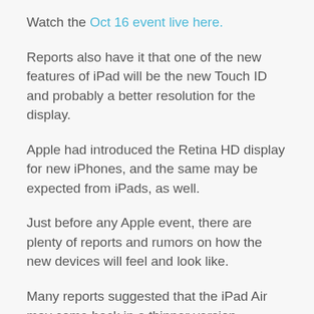Watch the Oct 16 event live here.
Reports also have it that one of the new features of iPad will be the new Touch ID and probably a better resolution for the display.
Apple had introduced the Retina HD display for new iPhones, and the same may be expected from iPads, as well.
Just before any Apple event, there are plenty of reports and rumors on how the new devices will feel and look like.
Many reports suggested that the iPad Air may come back in a thinner version.